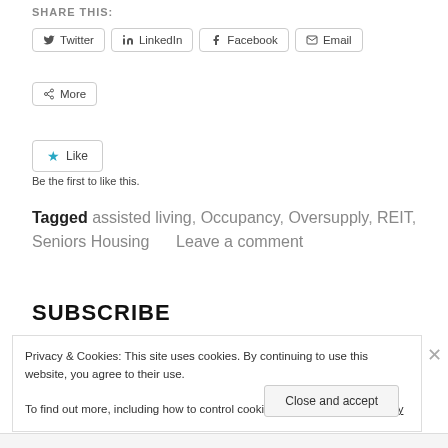SHARE THIS:
Twitter  LinkedIn  Facebook  Email
More
★ Like
Be the first to like this.
Tagged assisted living, Occupancy, Oversupply, REIT, Seniors Housing    Leave a comment
SUBSCRIBE
Privacy & Cookies: This site uses cookies. By continuing to use this website, you agree to their use.
To find out more, including how to control cookies, see here: Cookie Policy
Close and accept